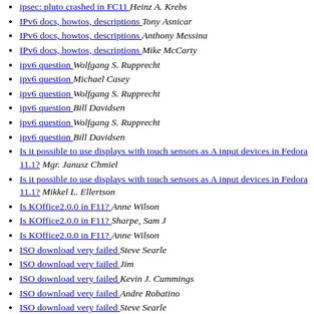ipsec: pluto crashed in FC11  Heinz A. Krebs
IPv6 docs, howtos, descriptions  Tony Asnicar
IPv6 docs, howtos, descriptions  Anthony Messina
IPv6 docs, howtos, descriptions  Mike McCarty
ipv6 question  Wolfgang S. Rupprecht
ipv6 question  Michael Casey
ipv6 question  Wolfgang S. Rupprecht
ipv6 question  Bill Davidsen
ipv6 question  Wolfgang S. Rupprecht
ipv6 question  Bill Davidsen
Is it possible to use displays with touch sensors as A input devices in Fedora 11.1?  Mgr. Janusz Chmiel
Is it possible to use displays with touch sensors as A input devices in Fedora 11.1?  Mikkel L. Ellertson
Is KOffice2.0.0 in F11?  Anne Wilson
Is KOffice2.0.0 in F11?  Sharpe, Sam J
Is KOffice2.0.0 in F11?  Anne Wilson
ISO download very failed  Steve Searle
ISO download very failed  Jim
ISO download very failed  Kevin J. Cummings
ISO download very failed  Andre Robatino
ISO download very failed  Steve Searle
ISO download very failed  Aldo Foot
ISO download very failed  Steve Searle
ISO download very failed  Andre Robatino
ISO download very failed  Kevin J. Cummings